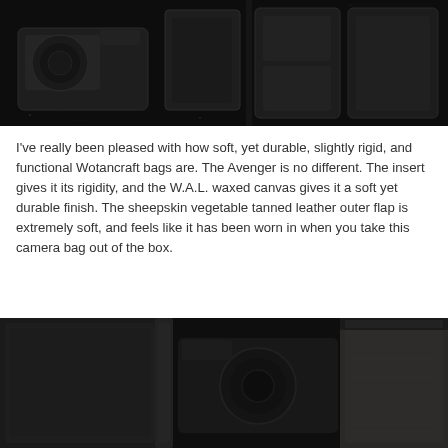[Figure (photo): Top-down flat lay photograph of a camera bag insert with camera equipment including a DSLR camera body and lenses laid out on a dark surface, photographed in black and white tones]
I've really been pleased with how soft, yet durable, slightly rigid, and functional Wotancraft bags are. The Avenger is no different. The insert gives it its rigidity, and the W.A.L. waxed canvas gives it a soft yet durable finish. The sheepskin vegetable tanned leather outer flap is extremely soft, and feels like it has been worn in when you take this camera bag out of the box.
[Figure (photo): Close-up interior photograph of a waxed canvas camera bag showing padded dividers and compartments with a camera body inside, photographed in dark tones]